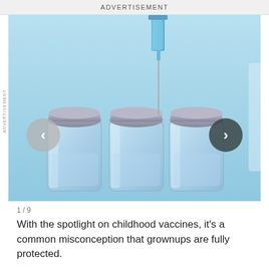ADVERTISEMENT
[Figure (photo): Three glass vaccine vials with silver metal caps on a light blue background, with a syringe needle being inserted into the rightmost vial. Navigation arrows (left and right) overlaid on the image.]
1 / 9
With the spotlight on childhood vaccines, it’s a common misconception that grownups are fully protected.